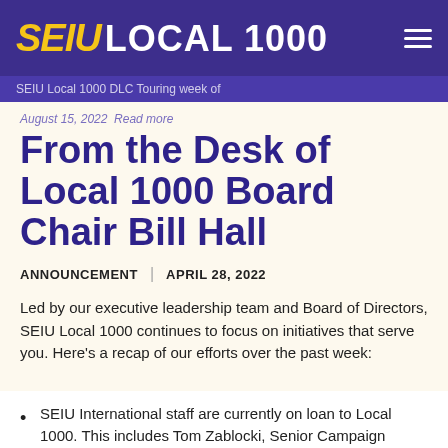SEIU LOCAL 1000
SEIU Local 1000 DLC Touring week of
August 15, 2022 Read more
From the Desk of Local 1000 Board Chair Bill Hall
ANNOUNCEMENT | APRIL 28, 2022
Led by our executive leadership team and Board of Directors, SEIU Local 1000 continues to focus on initiatives that serve you. Here’s a recap of our efforts over the past week:
SEIU International staff are currently on loan to Local 1000. This includes Tom Zablocki, Senior Campaign Coordinator, who was in Sacramento last week and this week. I’ve already met with Tom